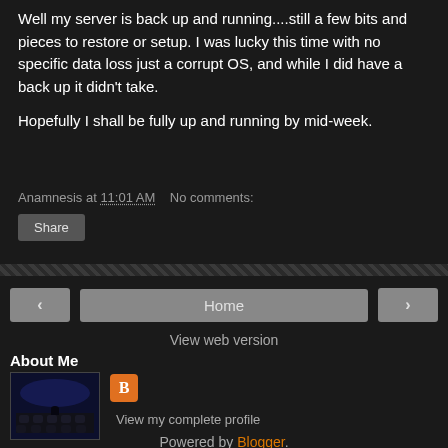Well my server is back up and running....still a few bits and pieces to restore or setup. I was lucky this time with no specific data loss just a corrupt OS, and while I did have a back up it didn't take.

Hopefully I shall be fully up and running by mid-week.
Anamnesis at 11:01 AM   No comments:
Share
[Figure (screenshot): Striped divider bar between blog post and navigation]
< Home >
View web version
About Me
[Figure (photo): Dark profile photo showing cinema/theater scene and Blogger orange icon]
View my complete profile
Powered by Blogger.